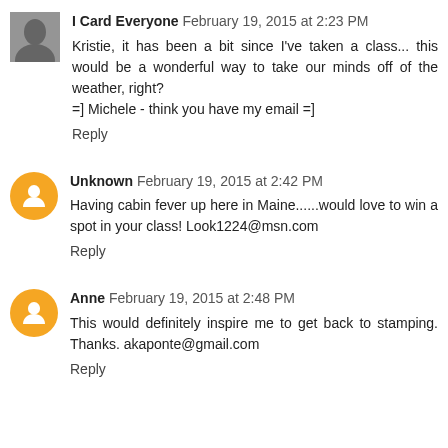I Card Everyone  February 19, 2015 at 2:23 PM
Kristie, it has been a bit since I've taken a class... this would be a wonderful way to take our minds off of the weather, right?
=] Michele - think you have my email =]
Reply
Unknown  February 19, 2015 at 2:42 PM
Having cabin fever up here in Maine......would love to win a spot in your class! Look1224@msn.com
Reply
Anne  February 19, 2015 at 2:48 PM
This would definitely inspire me to get back to stamping. Thanks. akaponte@gmail.com
Reply